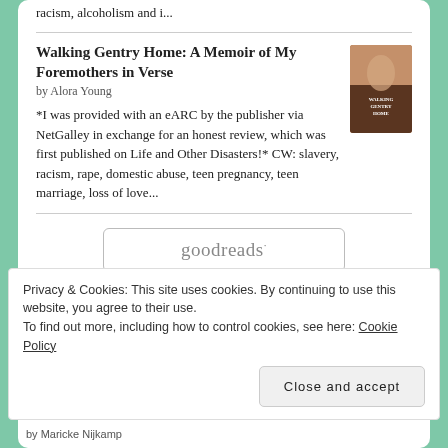racism, alcoholism and i...
Walking Gentry Home: A Memoir of My Foremothers in Verse
by Alora Young
*I was provided with an eARC by the publisher via NetGalley in exchange for an honest review, which was first published on Life and Other Disasters!* CW: slavery, racism, rape, domestic abuse, teen pregnancy, teen marriage, loss of love...
[Figure (illustration): Book cover of Walking Gentry Home]
[Figure (logo): Goodreads button/logo]
Privacy & Cookies: This site uses cookies. By continuing to use this website, you agree to their use. To find out more, including how to control cookies, see here: Cookie Policy
Close and accept
by Maricke Nijkamp